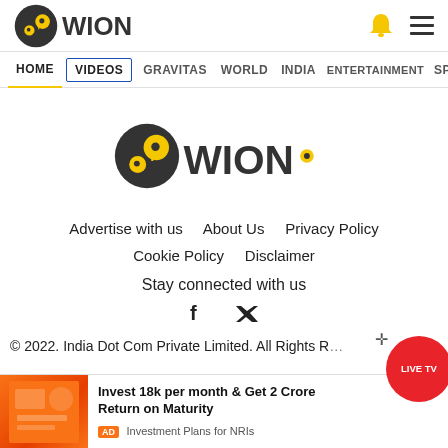[Figure (logo): WION logo in header - dark circular icon with yellow face and WION text]
HOME  VIDEOS  GRAVITAS  WORLD  INDIA  ENTERTAINMENT  SPORTS
[Figure (logo): Large WION logo centered - dark circular icon with yellow face and WION text]
Advertise with us   About Us   Privacy Policy
Cookie Policy   Disclaimer
Stay connected with us
[Figure (illustration): Facebook and Twitter social media icons]
© 2022. India Dot Com Private Limited. All Rights Reserved
[Figure (infographic): Ad banner: Invest 18k per month & Get 2 Crore Return on Maturity. AD Investment Plans for NRIs]